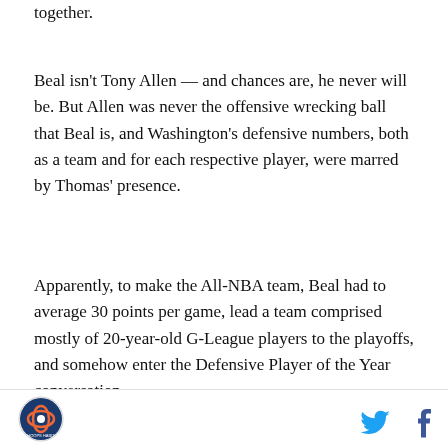together.
Beal isn't Tony Allen — and chances are, he never will be. But Allen was never the offensive wrecking ball that Beal is, and Washington's defensive numbers, both as a team and for each respective player, were marred by Thomas' presence.
Apparently, to make the All-NBA team, Beal had to average 30 points per game, lead a team comprised mostly of 20-year-old G-League players to the playoffs, and somehow enter the Defensive Player of the Year conversation.
Now — to those analysts, I'll ask this: can't you see how absolutely absurd such a standard would be?
[Figure (logo): Circular sports logo in bottom left footer]
[Figure (other): Twitter and Facebook social media icons in bottom right footer]